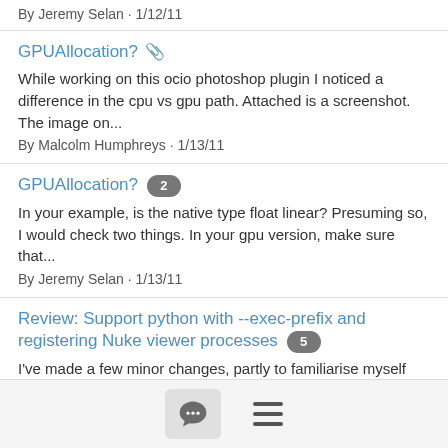By Jeremy Selan · 1/12/11
GPUAllocation? 📎
While working on this ocio photoshop plugin I noticed a difference in the cpu vs gpu path. Attached is a screenshot. The image on...
By Malcolm Humphreys · 1/13/11
GPUAllocation? 2
In your example, is the native type float linear? Presuming so, I would check two things. In your gpu version, make sure that...
By Jeremy Selan · 1/13/11
Review: Support python with --exec-prefix and registering Nuke viewer processes 5
I've made a few minor changes, partly to familiarise myself with the code, partly to say thanks for open-sourcing this extremely...
By "dbr/Ben" · 1/13/11
Review: updated ociodisplay + ocioconvert 3
[Figure (screenshot): Bottom navigation bar with chat/comment icon button and hamburger menu icon]